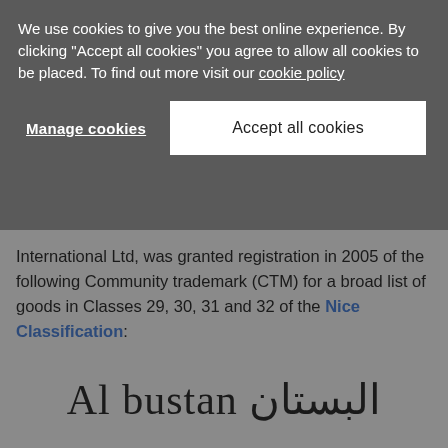We use cookies to give you the best online experience. By clicking "Accept all cookies" you agree to allow all cookies to be placed. To find out more visit our cookie policy
Manage cookies
Accept all cookies
International Ltd, was granted registration in 2005 of the following Community trademark (CTM) for a broad list of goods in Classes 29, 30, 31 and 32 of the Nice Classification:
[Figure (other): Trademark logo displaying text 'Al bustan' in Latin script and Arabic script 'البستان' in large serif font]